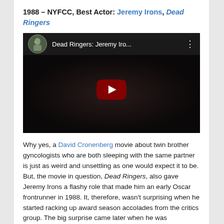1988 – NYFCC, Best Actor: Jeremy Irons, Dead Ringers
[Figure (screenshot): YouTube video thumbnail for 'Dead Ringers: Jeremy Iro...' showing a dark film still with a YouTube play button overlay and a circular thumbnail portrait in the top-left corner.]
Why yes, a David Cronenberg movie about twin brother gyncologists who are both sleeping with the same partner is just as weird and unsettling as one would expect it to be. But, the movie in question, Dead Ringers, also gave Jeremy Irons a flashy role that made him an early Oscar frontrunner in 1988. It, therefore, wasn't surprising when he started racking up award season accolades from the critics group. The big surprise came later when he was